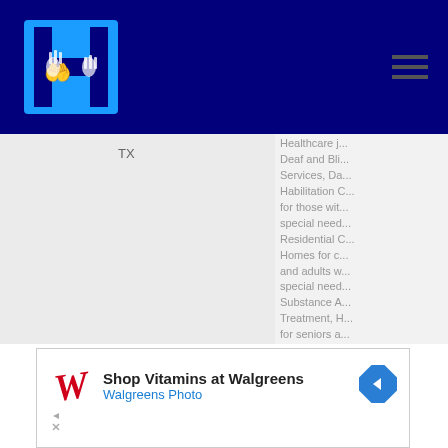HireHeroes header with logo and navigation menu
TX
Healthcare j... Deaf and Bli... Services, Da... Habilitation C... for those wit... special need... Residential C... Homes for c... and adults w... special need... Substance A... Treatment, H... for seniors a... those with a... disability, Ho... Veterans Ho...
[Figure (infographic): Walgreens advertisement banner: Shop Vitamins at Walgreens, Walgreens Photo, with Walgreens cursive W logo and blue diamond arrow icon]